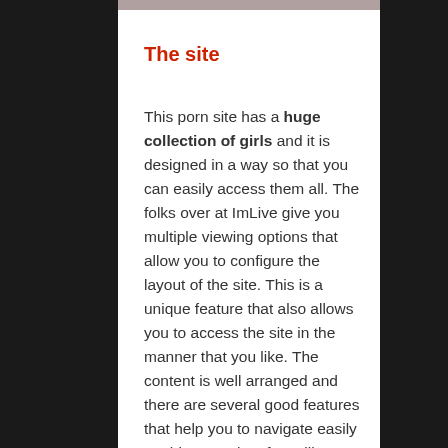[Figure (photo): Partial photo strip visible at top of white content area]
The site
This porn site has a huge collection of girls and it is designed in a way so that you can easily access them all. The folks over at ImLive give you multiple viewing options that allow you to configure the layout of the site. This is a unique feature that also allows you to access the site in the manner that you like. The content is well arranged and there are several good features that help you to navigate easily on this porn site. If you like a live